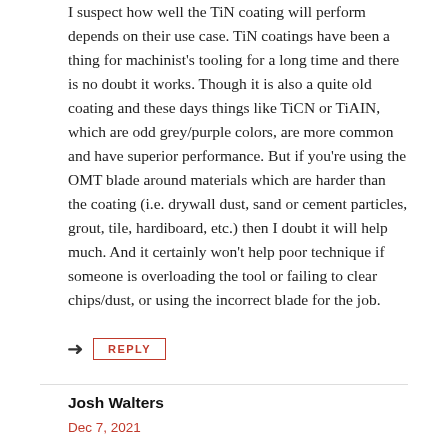I suspect how well the TiN coating will perform depends on their use case. TiN coatings have been a thing for machinist's tooling for a long time and there is no doubt it works. Though it is also a quite old coating and these days things like TiCN or TiAIN, which are odd grey/purple colors, are more common and have superior performance. But if you're using the OMT blade around materials which are harder than the coating (i.e. drywall dust, sand or cement particles, grout, tile, hardiboard, etc.) then I doubt it will help much. And it certainly won't help poor technique if someone is overloading the tool or failing to clear chips/dust, or using the incorrect blade for the job.
REPLY
Josh Walters
Dec 7, 2021